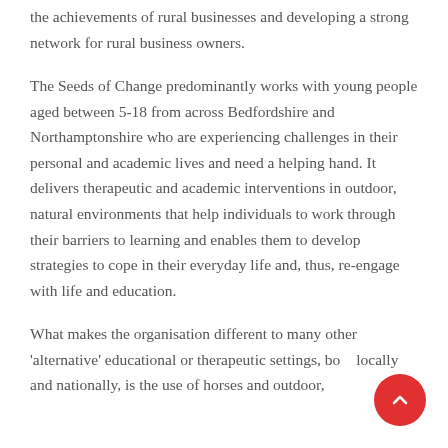the achievements of rural businesses and developing a strong network for rural business owners.
The Seeds of Change predominantly works with young people aged between 5-18 from across Bedfordshire and Northamptonshire who are experiencing challenges in their personal and academic lives and need a helping hand. It delivers therapeutic and academic interventions in outdoor, natural environments that help individuals to work through their barriers to learning and enables them to develop strategies to cope in their everyday life and, thus, re-engage with life and education.
What makes the organisation different to many other 'alternative' educational or therapeutic settings, both locally and nationally, is the use of horses and outdoor,